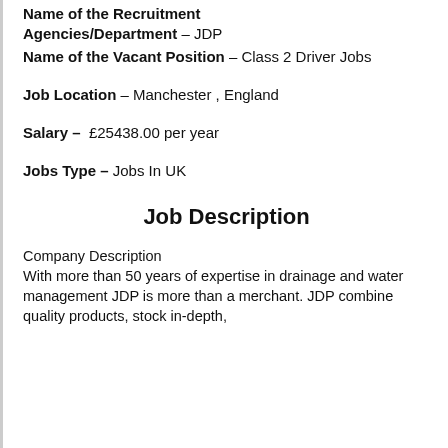Name of the Recruitment Agencies/Department – JDP
Name of the Vacant Position – Class 2 Driver Jobs
Job Location – Manchester , England
Salary – £25438.00 per year
Jobs Type – Jobs In UK
Job Description
Company Description
With more than 50 years of expertise in drainage and water management JDP is more than a merchant. JDP combine quality products, stock in-depth, knowledgeable staff, dedicated delivery...